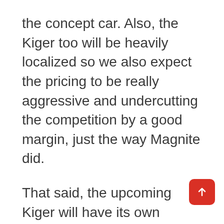the concept car. Also, the Kiger too will be heavily localized so we also expect the pricing to be really aggressive and undercutting the competition by a good margin, just the way Magnite did.

That said, the upcoming Kiger will have its own design language that primarily will give it its own identity. Going by what we have collected from those numerous spy pictures that have surfaced online, just like the 2019 Kwid facelift, up front there will be a split headlight setup with indicator/ DRLs